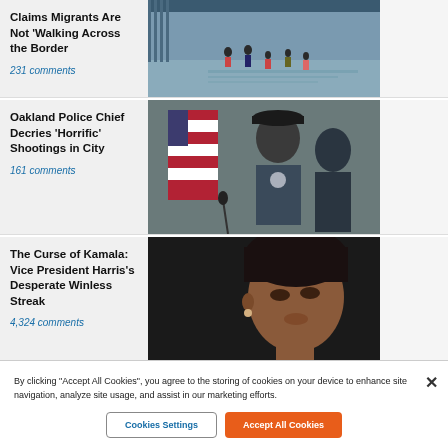Claims Migrants Are Not 'Walking Across the Border
231 comments
[Figure (photo): People crossing near a border wall/water]
Oakland Police Chief Decries 'Horrific' Shootings in City
161 comments
[Figure (photo): Police chief in uniform standing before an American flag]
The Curse of Kamala: Vice President Harris's Desperate Winless Streak
4,324 comments
[Figure (photo): Vice President Kamala Harris in close-up portrait]
By clicking "Accept All Cookies", you agree to the storing of cookies on your device to enhance site navigation, analyze site usage, and assist in our marketing efforts.
Cookies Settings
Accept All Cookies